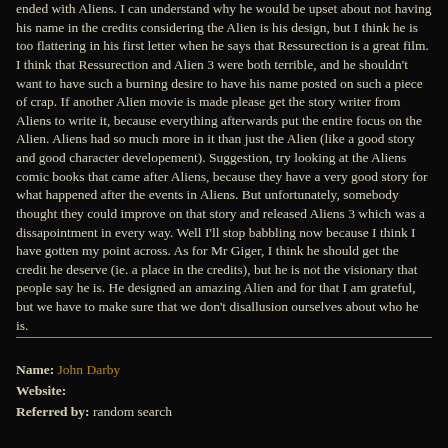ended with Aliens. I can understand why he would be upset about not having his name in the credits considering the Alien is his design, but I think he is too flattering in his first letter when he says that Ressurection is a great film. I think that Ressurection and Alien 3 were both terrible, and he shouldn't want to have such a burning desire to have his name posted on such a piece of crap. If another Alien movie is made please get the story writer from Aliens to write it, because everything afterwards put the entire focus on the Alien. Aliens had so much more in it than just the Alien (like a good story and good character developement). Suggestion, try looking at the Aliens comic books that came after Aliens, because they have a very good story for what happened after the events in Aliens. But unfortunately, somebody thought they could improve on that story and released Aliens 3 which was a dissapointment in every way. Well I'll stop babbling now because I think I have gotten my point across. As for Mr Giger, I think he should get the credit he deserve (ie. a place in the credits), but he is not the visionary that people say he is. He designed an amazing Alien and for that I am grateful, but we have to make sure that we don't disallusion ourselves about who he is.
Name: John Darby
Website:
Referred by: random search